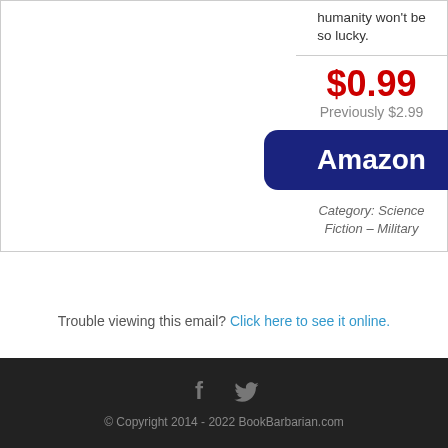humanity won't be so lucky.
$0.99
Previously $2.99
[Figure (other): Amazon button - dark blue rounded rectangle with white text 'Amazon']
Category: Science Fiction – Military
Trouble viewing this email? Click here to see it online.
[Figure (other): Social media icons: Facebook (f) and Twitter (bird) in gray on dark background]
© Copyright 2014 - 2022 BookBarbarian.com